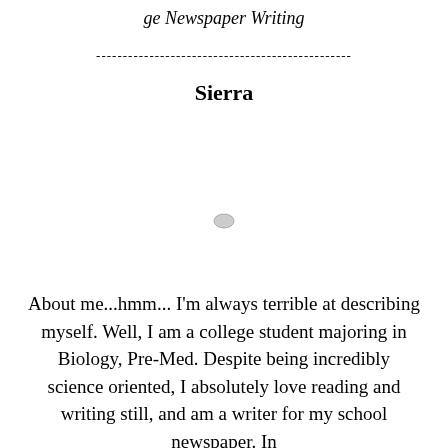ge Newspaper Writing
------------------------------------------------
Sierra
[Figure (other): Small circular icon or avatar placeholder in the center of the page]
About me...hmm... I'm always terrible at describing myself. Well, I am a college student majoring in Biology, Pre-Med. Despite being incredibly science oriented, I absolutely love reading and writing still, and am a writer for my school newspaper. In